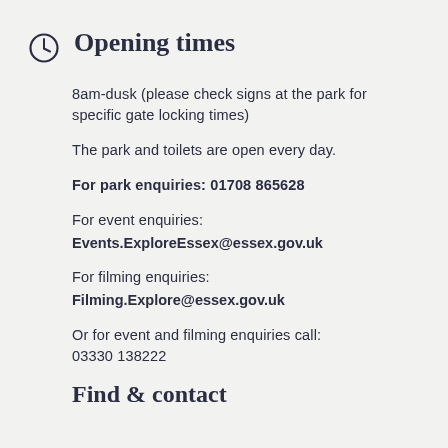Opening times
8am-dusk (please check signs at the park for specific gate locking times)
The park and toilets are open every day.
For park enquiries: 01708 865628
For event enquiries:
Events.ExploreEssex@essex.gov.uk
For filming enquiries:
Filming.Explore@essex.gov.uk
Or for event and filming enquiries call:
03330 138222
Find & contact